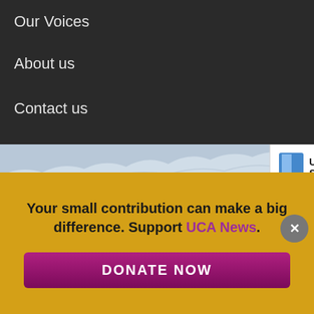Our Voices
About us
Contact us
[Figure (screenshot): Website screenshot showing a glacier image with a cartoon whale, UCAN store badge, and 'SPECIAL EBOOKS' sidebar tab]
Your small contribution can make a big difference. Support UCA News.
DONATE NOW